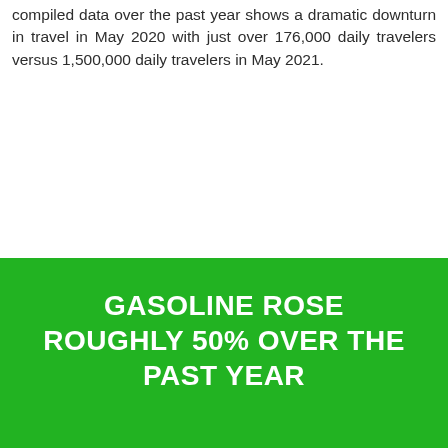compiled data over the past year shows a dramatic downturn in travel in May 2020 with just over 176,000 daily travelers versus 1,500,000 daily travelers in May 2021.
GASOLINE ROSE ROUGHLY 50% OVER THE PAST YEAR